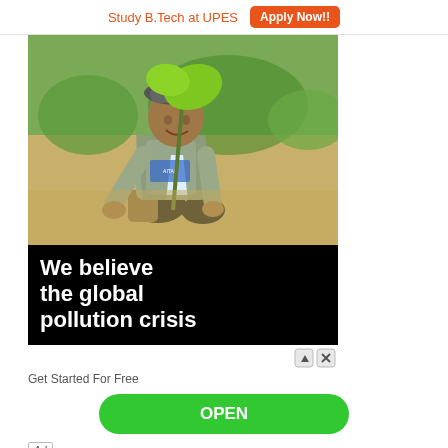Study B.Tech at UPES   Apply Now!!
[Figure (photo): Man kneeling on sandy ground planting a sapling, wearing a blue vest with text, with green background/trees. Black strip overlay at bottom reads: We believe the global pollution crisis]
Get Started For Free
OPEN
Ad